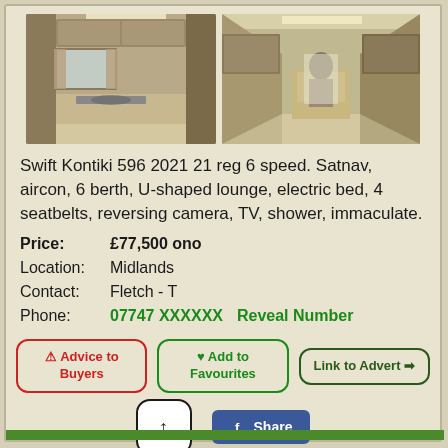[Figure (photo): Two interior photos of a motorhome - left shows kitchen/living area with sink and cabinets, right shows corridor/seating area]
Swift Kontiki 596 2021 21 reg 6 speed. Satnav, aircon, 6 berth, U-shaped lounge, electric bed, 4 seatbelts, reversing camera, TV, shower, immaculate.
Price: £77,500 ono
Location: Midlands
Contact: Fletch - T
Phone: 07747 XXXXXX   Reveal Number